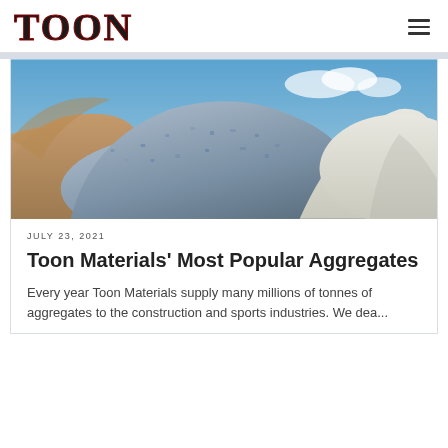TOON
[Figure (photo): Piles of construction aggregates: sand/gravel on left, crushed stone/gravel in center, white limestone/chalk on right, blue sky background]
JULY 23, 2021
Toon Materials' Most Popular Aggregates
Every year Toon Materials supply many millions of tonnes of aggregates to the construction and sports industries. We dea...